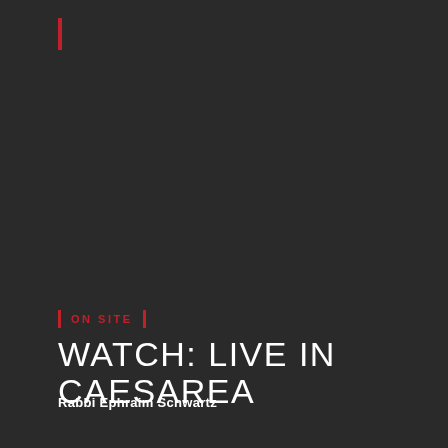[Figure (other): Red vertical bar accent at top left of dark background page]
ON SITE
WATCH: LIVE IN CAESAREA
Rabbi Ephraim Schwartz